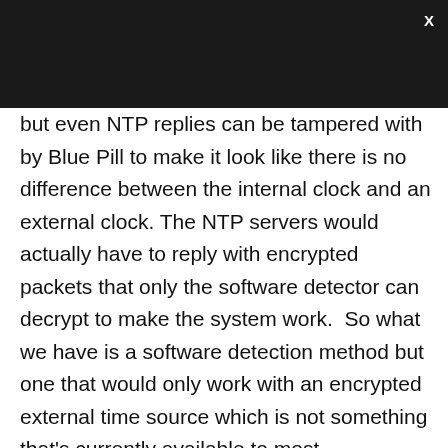but even NTP replies can be tampered with by Blue Pill to make it look like there is no difference between the internal clock and an external clock. The NTP servers would actually have to reply with encrypted packets that only the software detector can decrypt to make the system work.  So what we have is a software detection method but one that would only work with an encrypted external time source which is not something that's currently available to most enterprises.  This is precisely what I meant by saying that Blue Pill was undetectable by conventional Malware detection methods.